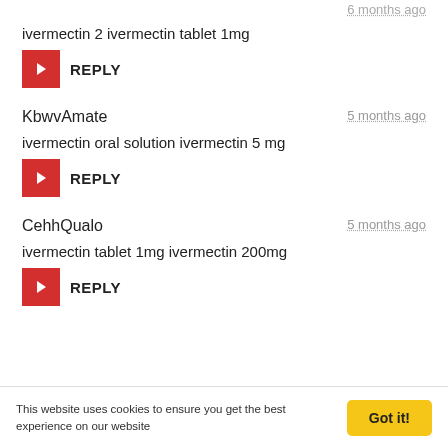ivermectin 2 ivermectin tablet 1mg
REPLY
KbwvAmate
5 months ago
ivermectin oral solution ivermectin 5 mg
REPLY
CehhQualo
5 months ago
ivermectin tablet 1mg ivermectin 200mg
REPLY
This website uses cookies to ensure you get the best experience on our website
Got it!